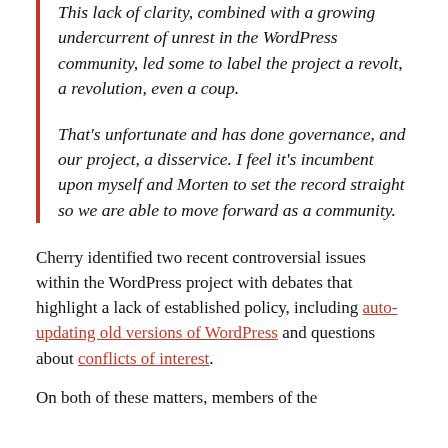This lack of clarity, combined with a growing undercurrent of unrest in the WordPress community, led some to label the project a revolt, a revolution, even a coup.
That's unfortunate and has done governance, and our project, a disservice. I feel it's incumbent upon myself and Morten to set the record straight so we are able to move forward as a community.
Cherry identified two recent controversial issues within the WordPress project with debates that highlight a lack of established policy, including auto-updating old versions of WordPress and questions about conflicts of interest.
On both of these matters, members of the...